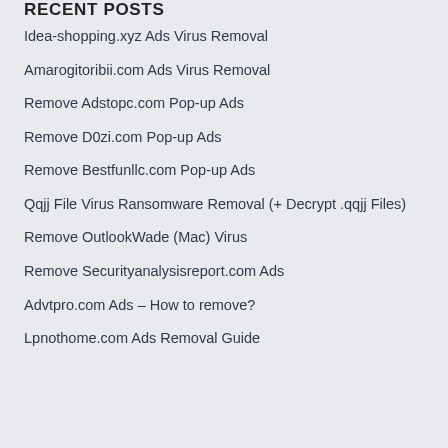RECENT POSTS
Idea-shopping.xyz Ads Virus Removal
Amarogitoribii.com Ads Virus Removal
Remove Adstopc.com Pop-up Ads
Remove D0zi.com Pop-up Ads
Remove Bestfunllc.com Pop-up Ads
Qqjj File Virus Ransomware Removal (+ Decrypt .qqjj Files)
Remove OutlookWade (Mac) Virus
Remove Securityanalysisreport.com Ads
Advtpro.com Ads – How to remove?
Lpnothome.com Ads Removal Guide